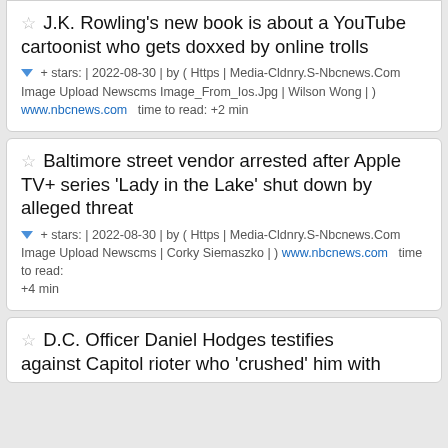J.K. Rowling's new book is about a YouTube cartoonist who gets doxxed by online trolls + stars: | 2022-08-30 | by ( Https | Media-Cldnry.S-Nbcnews.Com Image Upload Newscms Image_From_Ios.Jpg | Wilson Wong | ) www.nbcnews.com time to read: +2 min
Baltimore street vendor arrested after Apple TV+ series 'Lady in the Lake' shut down by alleged threat + stars: | 2022-08-30 | by ( Https | Media-Cldnry.S-Nbcnews.Com Image Upload Newscms | Corky Siemaszko | ) www.nbcnews.com time to read: +4 min
D.C. Officer Daniel Hodges testifies against Capitol rioter who 'crushed' him with